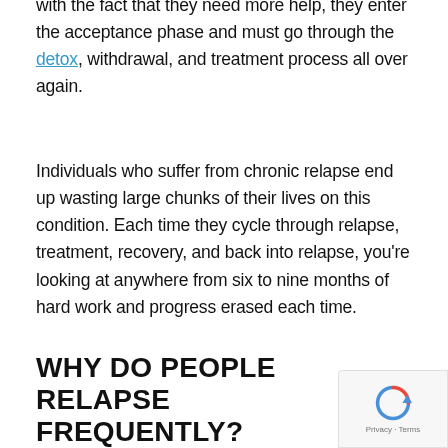with the fact that they need more help, they enter the acceptance phase and must go through the detox, withdrawal, and treatment process all over again.
Individuals who suffer from chronic relapse end up wasting large chunks of their lives on this condition. Each time they cycle through relapse, treatment, recovery, and back into relapse, you're looking at anywhere from six to nine months of hard work and progress erased each time.
WHY DO PEOPLE RELAPSE FREQUENTLY?